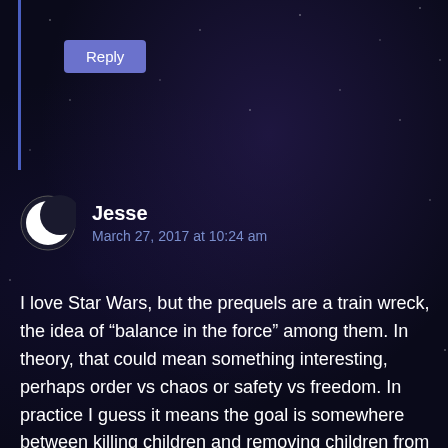[Figure (screenshot): Reply button — rounded rectangle with purple/blue background, white text 'Reply']
Jesse
March 27, 2017 at 10:24 am
I love Star Wars, but the prequels are a train wreck, the idea of “balance in the force” among them. In theory, that could mean something interesting, perhaps order vs chaos or safety vs freedom. In practice I guess it means the goal is somewhere between killing children and removing children from their families so they won’t love or be attached to said families? Um… there is a light side, right?